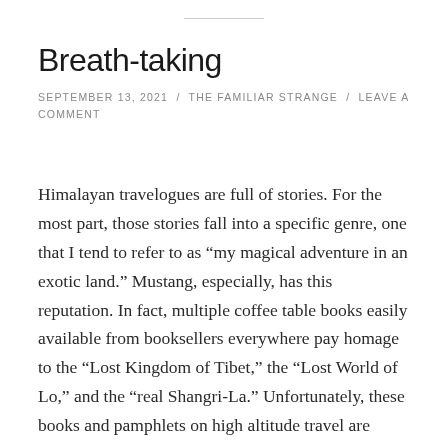Breath-taking
SEPTEMBER 13, 2021 / THE FAMILIAR STRANGE / LEAVE A COMMENT
Himalayan travelogues are full of stories. For the most part, those stories fall into a specific genre, one that I tend to refer to as “my magical adventure in an exotic land.” Mustang, especially, has this reputation. In fact, multiple coffee table books easily available from booksellers everywhere pay homage to the “Lost Kingdom of Tibet,” the “Lost World of Lo,” and the “real Shangri-La.” Unfortunately, these books and pamphlets on high altitude travel are equally full of popular orientalist tropes of “pure” cultures and “innocent”